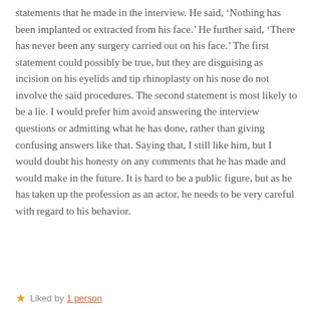statements that he made in the interview. He said, ‘Nothing has been implanted or extracted from his face.’ He further said, ‘There has never been any surgery carried out on his face.’ The first statement could possibly be true, but they are disguising as incision on his eyelids and tip rhinoplasty on his nose do not involve the said procedures. The second statement is most likely to be a lie. I would prefer him avoid answering the interview questions or admitting what he has done, rather than giving confusing answers like that. Saying that, I still like him, but I would doubt his honesty on any comments that he has made and would make in the future. It is hard to be a public figure, but as he has taken up the profession as an actor, he needs to be very careful with regard to his behavior.
★ Liked by 1 person